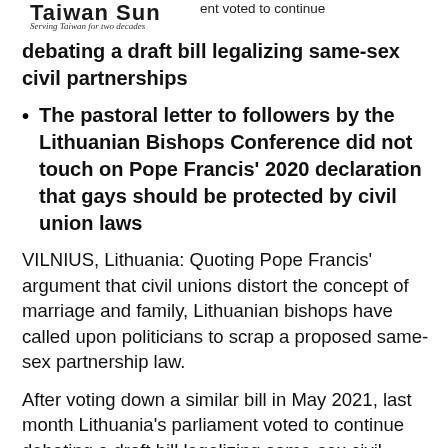Taiwan Sun — Serving Taiwan for two decades
debating a draft bill legalizing same-sex civil partnerships
The pastoral letter to followers by the Lithuanian Bishops Conference did not touch on Pope Francis' 2020 declaration that gays should be protected by civil union laws
VILNIUS, Lithuania: Quoting Pope Francis' argument that civil unions distort the concept of marriage and family, Lithuanian bishops have called upon politicians to scrap a proposed same-sex partnership law.
After voting down a similar bill in May 2021, last month Lithuania's parliament voted to continue debating a draft bill legalizing same-sex civil partnerships.